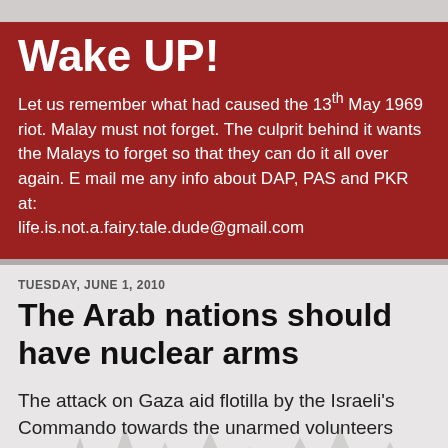Wake UP!
Let us remember what had caused the 13th May 1969 riot. Malay must not forget. The culprit behind it wants the Malays to forget so that they can do it all over again. E mail me any info about DAP, PAS and PKR at: life.is.not.a.fairy.tale.dude@gmail.com
TUESDAY, JUNE 1, 2010
The Arab nations should have nuclear arms
The attack on Gaza aid flotilla by the Israeli's Commando towards the unarmed volunteers proves that they are worst than the animals or even the boo ha ha fairy tale of a holocaust